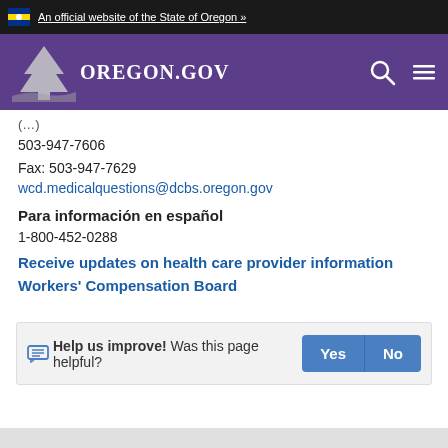An official website of the State of Oregon »
[Figure (logo): Oregon.gov logo with state tree silhouette on purple navigation bar]
503-947-7606
Fax: 503-947-7629
wcd.medicalquestions@dcbs.oregon.gov
Para información en español
1-800-452-0288
Receive updates on health care provider information
Workers' Compensation Board
Help us improve! Was this page helpful?